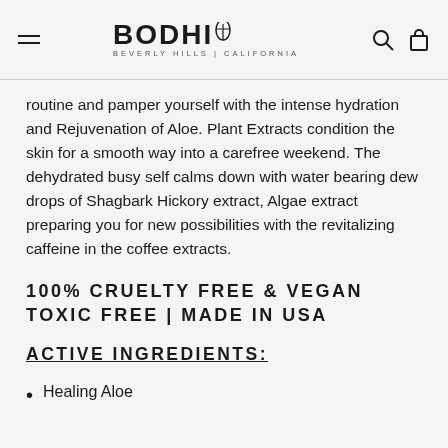BODHI BEVERLY HILLS | CALIFORNIA
routine and pamper yourself with the intense hydration and Rejuvenation of Aloe. Plant Extracts condition the skin for a smooth way into a carefree weekend. The dehydrated busy self calms down with water bearing dew drops of Shagbark Hickory extract, Algae extract preparing you for new possibilities with the revitalizing caffeine in the coffee extracts.
100% CRUELTY FREE & VEGAN TOXIC FREE | MADE IN USA
ACTIVE INGREDIENTS:
Healing Aloe